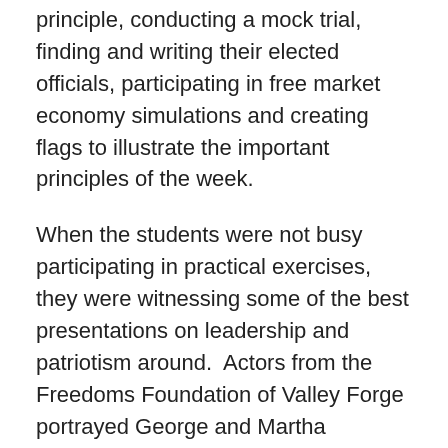principle, conducting a mock trial, finding and writing their elected officials, participating in free market economy simulations and creating flags to illustrate the important principles of the week.
When the students were not busy participating in practical exercises, they were witnessing some of the best presentations on leadership and patriotism around.  Actors from the Freedoms Foundation of Valley Forge  portrayed George and Martha Washington, giving a first-hand “living history” account of the Revolutionary War.  Irvin Schlenker and the Heroes of ‘76 in their colonial dress showed just how the American Flag was built, explaining the rich symbolism and history of our national flag.  Students were captivated by personal accounts of faculty such as General Bob Williams who passed on lessons in leadership he learned while working on General